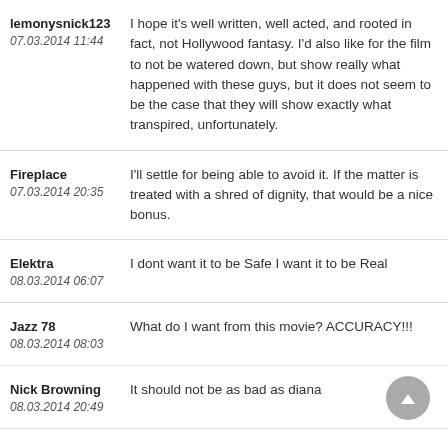lemonysnick123
07.03.2014 11:44
I hope it's well written, well acted, and rooted in fact, not Hollywood fantasy. I'd also like for the film to not be watered down, but show really what happened with these guys, but it does not seem to be the case that they will show exactly what transpired, unfortunately.
Fireplace
07.03.2014 20:35
I'll settle for being able to avoid it. If the matter is treated with a shred of dignity, that would be a nice bonus.
Elektra
08.03.2014 06:07
I dont want it to be Safe I want it to be Real
Jazz 78
08.03.2014 08:03
What do I want from this movie? ACCURACY!!!
Nick Browning
08.03.2014 20:49
It should not be as bad as diana
I want it to be about music, I guess, with the plot and acting secondary. I want to have a Wow moment in